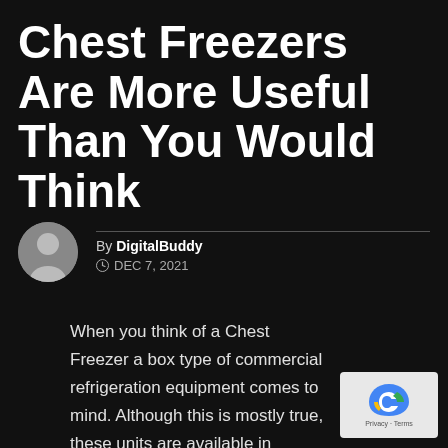Chest Freezers Are More Useful Than You Would Think
By DigitalBuddy
DEC 7, 2021
When you think of a Chest Freezer a box type of commercial refrigeration equipment comes to mind. Although this is mostly true, these units are available in various sizes and designs. Plus they can be used by different people or establishments.